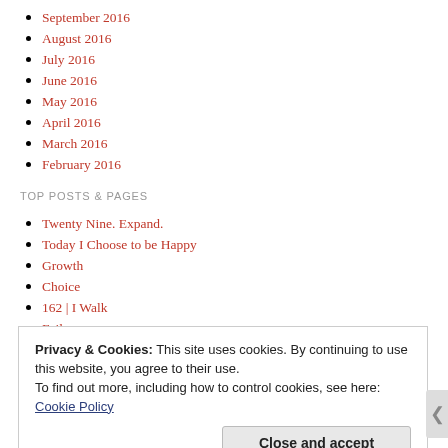September 2016
August 2016
July 2016
June 2016
May 2016
April 2016
March 2016
February 2016
TOP POSTS & PAGES
Twenty Nine. Expand.
Today I Choose to be Happy
Growth
Choice
162 | I Walk
Failure
182 | The Muck, The Magic, The Love
Privacy & Cookies: This site uses cookies. By continuing to use this website, you agree to their use.
To find out more, including how to control cookies, see here: Cookie Policy
Close and accept